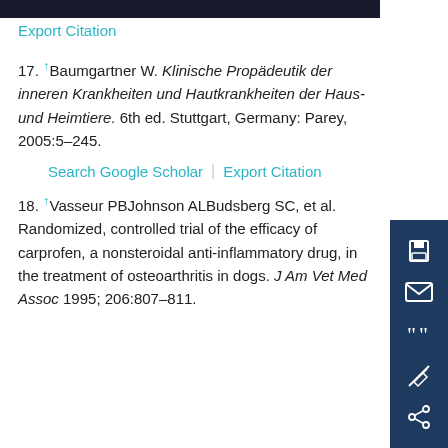Export Citation
17. ↑Baumgartner W. Klinische Propädeutik der inneren Krankheiten und Hautkrankheiten der Haus- und Heimtiere. 6th ed. Stuttgart, Germany: Parey, 2005:5–245.
Search Google Scholar | Export Citation
18. ↑Vasseur PBJohnson ALBudsberg SC, et al. Randomized, controlled trial of the efficacy of carprofen, a nonsteroidal anti-inflammatory drug, in the treatment of osteoarthritis in dogs. J Am Vet Med Assoc 1995; 206:807–811.